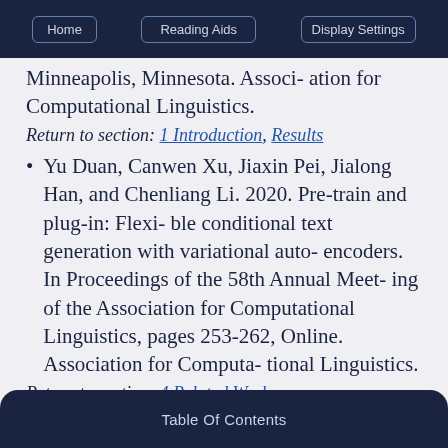Home | Reading Aids | Display Settings
Minneapolis, Minnesota. Associ- ation for Computational Linguistics.
Return to section: 1 Introduction, Results
Yu Duan, Canwen Xu, Jiaxin Pei, Jialong Han, and Chenliang Li. 2020. Pre-train and plug-in: Flexi- ble conditional text generation with variational auto- encoders. In Proceedings of the 58th Annual Meeting of the Association for Computational Linguistics, pages 253-262, Online. Association for Computa- tional Linguistics.
Return to section: 4 Related Work
Table Of Contents